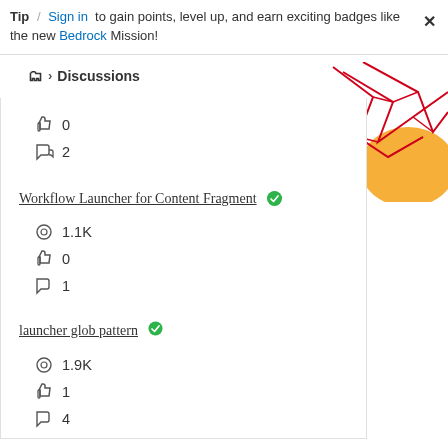Tip / Sign in to gain points, level up, and earn exciting badges like the new Bedrock Mission!
📁 > Discussions
👍 0
↩ 2
Workflow Launcher for Content Fragment ✅
👁 1.1K
👍 0
↩ 1
launcher glob pattern ✅
👁 1.9K
👍 1
↩ 4